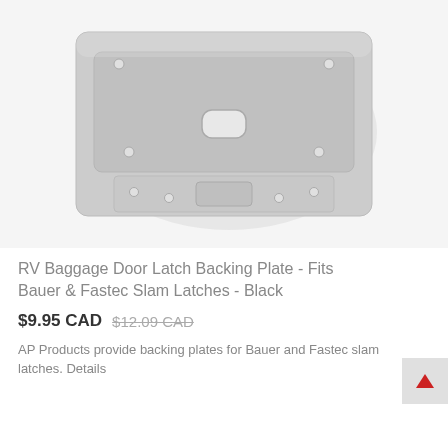[Figure (photo): Gray metal RV baggage door latch backing plate with mounting holes and a central slot, photographed on white/light gray background]
RV Baggage Door Latch Backing Plate - Fits Bauer & Fastec Slam Latches - Black
$9.95 CAD  $12.09 CAD
AP Products provide backing plates for Bauer and Fastec slam latches. Details